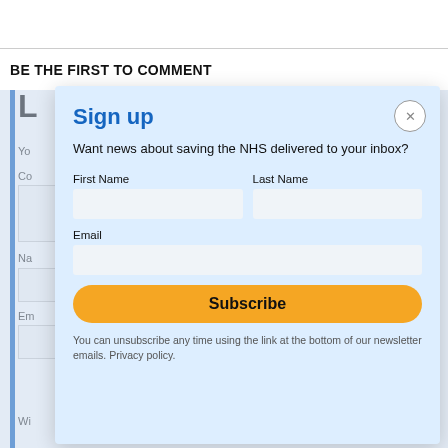BE THE FIRST TO COMMENT
Sign up
Want news about saving the NHS delivered to your inbox?
First Name
Last Name
Email
Subscribe
You can unsubscribe any time using the link at the bottom of our newsletter emails. Privacy policy.